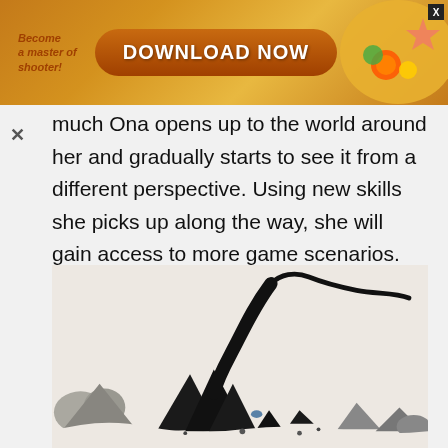[Figure (screenshot): Advertisement banner with orange/gold gradient background, text 'Become a master of shooter!' on the left, a large orange 'DOWNLOAD NOW' button in the center, and decorative game elements on the right. An X close button is in the top-right corner.]
much Ona opens up to the world around her and gradually starts to see it from a different perspective. Using new skills she picks up along the way, she will gain access to more game scenarios.
[Figure (illustration): Game artwork showing abstract dark rock or mountain shapes against a light beige background, with a winding black line/ribbon curving upward from the rocks, suggesting a serpentine or path-like element.]
Image credit: Nomada